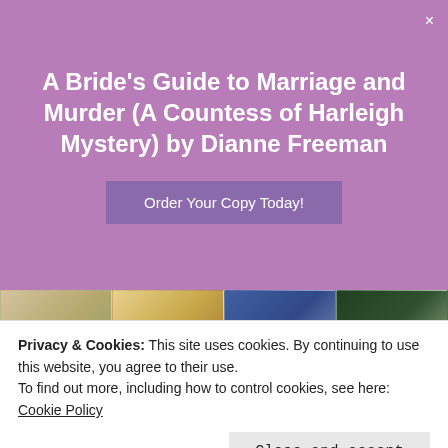A Bride's Guide to Marriage and Murder (A Countess of Harleigh Mystery) by Dianne Freeman
Order Your Copy Today!
[Figure (photo): Grid of book covers arranged in two rows of four. Top row shows four books by Daryl Wood Gerber. Bottom row shows four Cookbook Nook Mystery books titled: Grilling the Subject, Pressing the Issue, Wreath Between the Lines, Sifting Through Clues.]
Privacy & Cookies: This site uses cookies. By continuing to use this website, you agree to their use.
To find out more, including how to control cookies, see here:
Cookie Policy
Close and accept